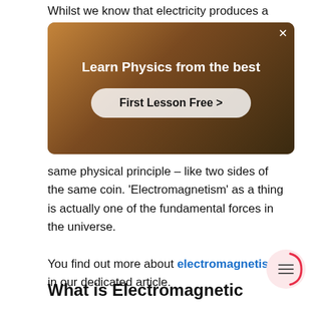Whilst we know that electricity produces a
[Figure (screenshot): Advertisement banner with a physics teacher in background. Title: 'Learn Physics from the best'. Button: 'First Lesson Free >']
same physical principle – like two sides of the same coin. 'Electromagnetism' as a thing is actually one of the fundamental forces in the universe.

You find out more about electromagnetism in our dedicated article.
What is Electromagnetic